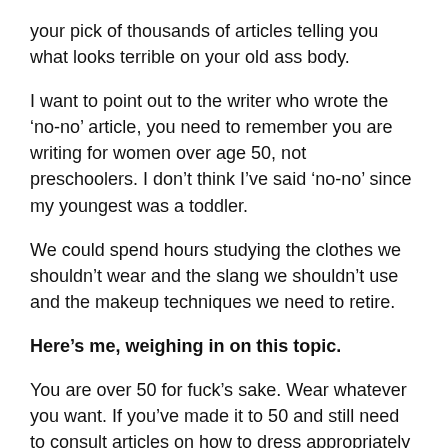your pick of thousands of articles telling you what looks terrible on your old ass body.
I want to point out to the writer who wrote the ‘no-no’ article, you need to remember you are writing for women over age 50, not preschoolers. I don’t think I’ve said ‘no-no’ since my youngest was a toddler.
We could spend hours studying the clothes we shouldn’t wear and the slang we shouldn’t use and the makeup techniques we need to retire.
Here’s me, weighing in on this topic.
You are over 50 for fuck’s sake. Wear whatever you want. If you’ve made it to 50 and still need to consult articles on how to dress appropriately then you are so missing out on one of the best things about being over 50. One of the